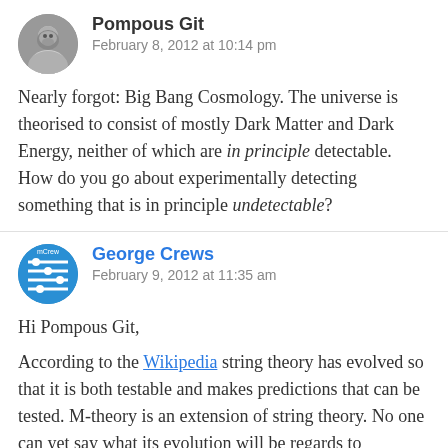Pompous Git
February 8, 2012 at 10:14 pm
Nearly forgot: Big Bang Cosmology. The universe is theorised to consist of mostly Dark Matter and Dark Energy, neither of which are in principle detectable. How do you go about experimentally detecting something that is in principle undetectable?
George Crews
February 9, 2012 at 11:35 am
Hi Pompous Git,
According to the Wikipedia string theory has evolved so that it is both testable and makes predictions that can be tested. M-theory is an extension of string theory. No one can yet say what its evolution will be regards to testability.
And in response to your comment about experimentally detecting something that is in principle undetectable